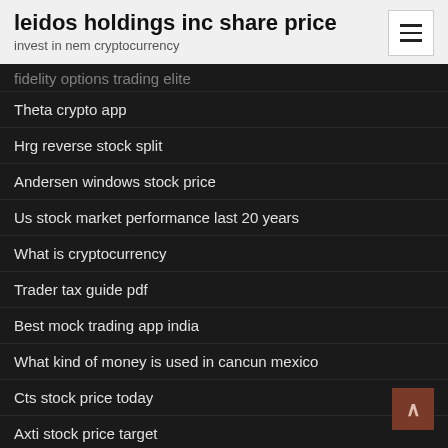leidos holdings inc share price
invest in nem cryptocurrency
fidelity options trading elite
Theta crypto app
Hrg reverse stock split
Andersen windows stock price
Us stock market performance last 20 years
What is cryptocurrency
Trader tax guide pdf
Best mock trading app india
What kind of money is used in cancun mexico
Cts stock price today
Axti stock price target